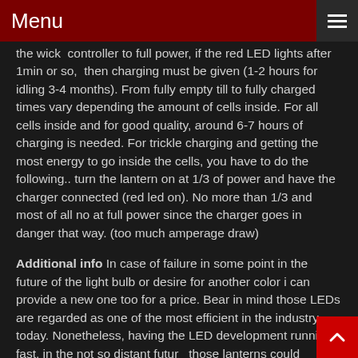Menu
the wick  controller to full power, if the red LED lights after 1min or so,  then charging must be given (1-2 hours for idling 3-4 months). From fully empty till to fully charged times vary depending the amount of cells inside. For all cells inside and for good quality, around 6-7 hours of charging is needed. For trickle charging and getting the most energy to go inside the cells, you have to do the following.. turn the lantern on at 1/3 of power and have the charger connected (red led on). No more than 1/3 and most of all no at full power since the charger goes in danger that way. (too much amperage draw)
Additional info In case of failure in some point in the future of the light bulb or desire for another color i can provide a new one too for a price. Bear in mind those LEDs are regarded as one of the most efficient in the industry today. Nonetheless, having the LED development running fast, in the not so distant future those lanterns could provide as much as 50% or even double light for same power input, by just